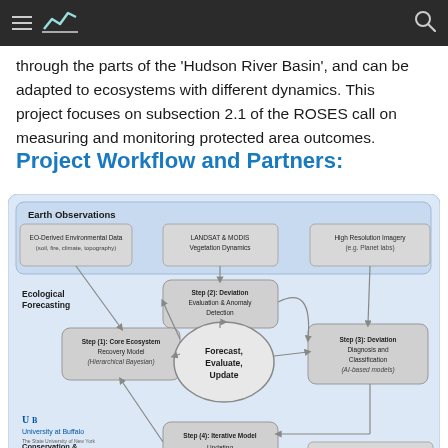Navigation bar with hamburger menu, logo, and search icon
...through the parts of the 'Hudson River Basin', and can be adapted to ecosystems with different dynamics. This project focuses on subsection 2.1 of the ROSES call on measuring and monitoring protected area outcomes.
Project Workflow and Partners:
[Figure (flowchart): Project workflow diagram showing Earth Observations (EO-Derived Environmental Data, LANDSAT & MODIS Vegetation Dynamics, High Resolution Imagery), Ecological Forecasting steps: Step (1) Core Ecosystem Recovery Model (Hierarchical Bayesian), Step (2) Deviation Evaluation & Anomaly Detection, Step (3) Deviation Diagnosis and Classification (AI-based models), Step (4) Iterative Model Updating, central node 'Forecast, Evaluate, Update', Conservation & Management of Biodiversity, In Situ Observations (Field Inspection, Citizen Science Reports), University at Buffalo logo, NRF SAEON logo]